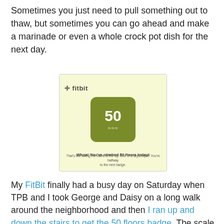Sometimes you just need to pull something out to thaw, but sometimes you can go ahead and make a marinade or even a whole crock pot dish for the next day.
[Figure (screenshot): Fitbit app notification showing a badge with the number 50, and text 'Whoa! You've climbed 50 floors today! That's like taking the stairs to the top floor of a skyscraper! You're halfway to the next badge.']
My FitBit finally had a busy day on Saturday when TPB and I took George and Daisy on a long walk around the neighborhood and then I ran up and down the stairs to get the 50 floors badge. The scale isn't really budging at the moment, mostly due to the fact that it is always someone's birthday at work, and the lovely people there are so thoughtful to share cake with the receptionists. Also, due to the fact that I have no will power.